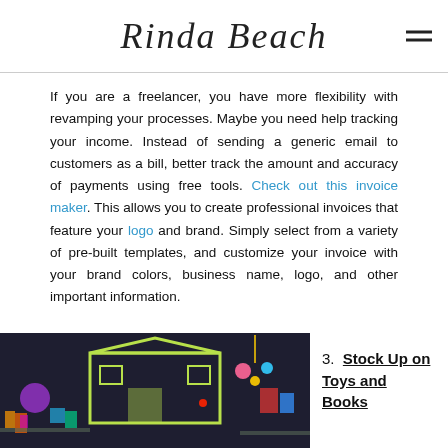Rinda Beach
If you are a freelancer, you have more flexibility with revamping your processes. Maybe you need help tracking your income. Instead of sending a generic email to customers as a bill, better track the amount and accuracy of payments using free tools. Check out this invoice maker. This allows you to create professional invoices that feature your logo and brand. Simply select from a variety of pre-built templates, and customize your invoice with your brand colors, business name, logo, and other important information.
[Figure (photo): Interior of a toy store with colorful toys and a small playhouse structure, dark background]
3. Stock Up on Toys and Books